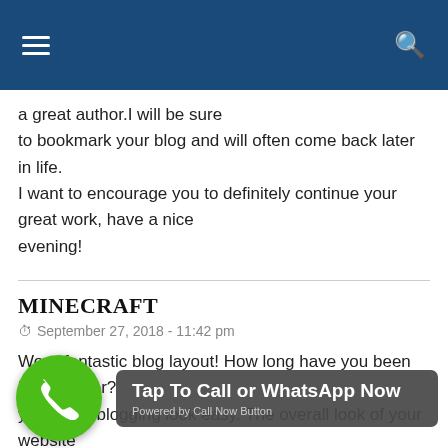Navigation header bar with hamburger menu and search icon
a great author.I will be sure to bookmark your blog and will often come back later in life. I want to encourage you to definitely continue your great work, have a nice evening!
MINECRAFT
September 27, 2018 - 11:42 pm
Wow, fantastic blog layout! How long have you been blogging for? you make blogging look easy. The overall look of your website is excellent, let alone the content!
MINECRAFT
September 28, 2018 - 11:53 am
[Figure (infographic): Green phone call button overlay with dark grey banner reading 'Tap To Call or WhatsApp Now' and 'Powered by Call Now Button']